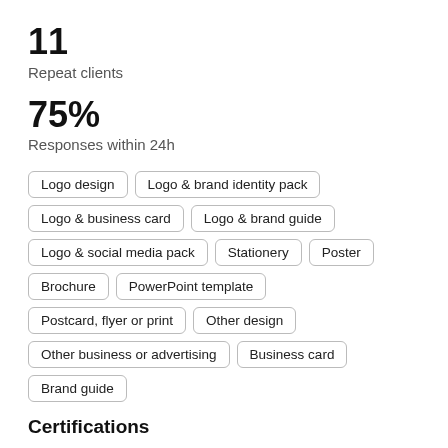11
Repeat clients
75%
Responses within 24h
Logo design
Logo & brand identity pack
Logo & business card
Logo & brand guide
Logo & social media pack
Stationery
Poster
Brochure
PowerPoint template
Postcard, flyer or print
Other design
Other business or advertising
Business card
Brand guide
Certifications